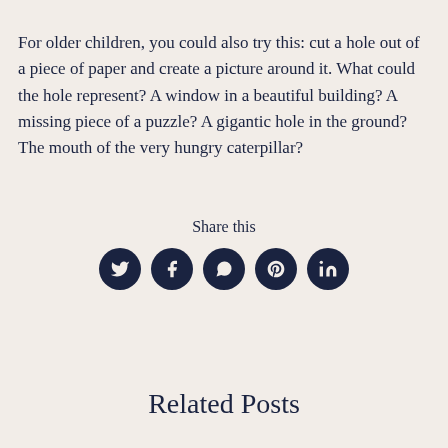For older children, you could also try this: cut a hole out of a piece of paper and create a picture around it. What could the hole represent? A window in a beautiful building? A missing piece of a puzzle? A gigantic hole in the ground? The mouth of the very hungry caterpillar?
Share this
[Figure (infographic): Five social media icon circles (Twitter, Facebook, WhatsApp, Pinterest, LinkedIn) in dark navy blue]
Related Posts